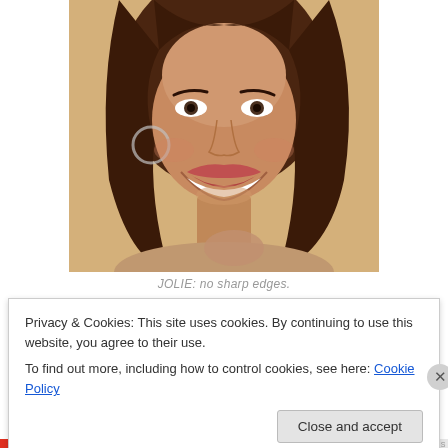[Figure (photo): Portrait photo of a smiling woman with long brown hair, hoop earrings, on a warm beige background. She is posed looking at the camera with a wide smile, hand near her chest.]
JOLIE: no sharp edges.
Privacy & Cookies: This site uses cookies. By continuing to use this website, you agree to their use.
To find out more, including how to control cookies, see here: Cookie Policy